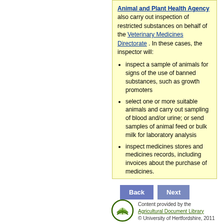Animal and Plant Health Agency also carry out inspection of restricted substances on behalf of the Veterinary Medicines Directorate . In these cases, the inspector will:
inspect a sample of animals for signs of the use of banned substances, such as growth promoters
select one or more suitable animals and carry out sampling of blood and/or urine; or send samples of animal feed or bulk milk for laboratory analysis
inspect medicines stores and medicines records, including invoices about the purchase of medicines.
[Figure (logo): Agricultural Document Library logo — green open book inside a green circle]
Content provided by the Agricultural Document Library © University of Hertfordshire, 2011